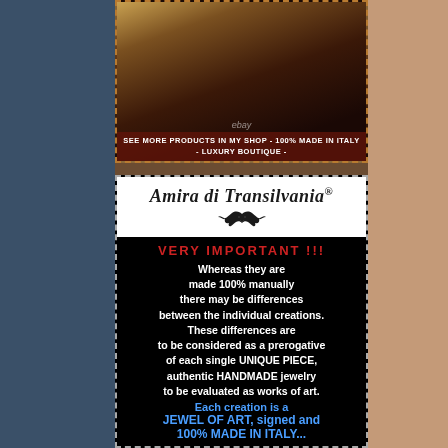[Figure (photo): Boutique shop interior with colorful clothing on racks and ornate furniture, with eBay watermark and overlay text 'SEE MORE PRODUCTS IN MY SHOP - 100% MADE IN ITALY - LUXURY BOUTIQUE -']
[Figure (logo): Amira di Transilvania brand logo with Gothic text and bat mascot, followed by product information text on black background reading 'VERY IMPORTANT !!! Whereas they are made 100% manually there may be differences between the individual creations. These differences are to be considered as a prerogative of each single UNIQUE PIECE, authentic HANDMADE jewelry to be evaluated as works of art. Each creation is a JEWEL OF ART, signed and 100% MADE IN ITALY...']